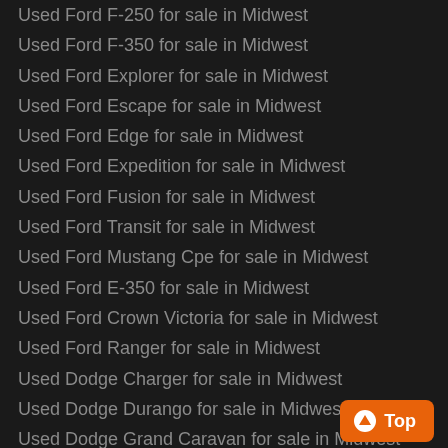Used Ford F-250 for sale in Midwest
Used Ford F-350 for sale in Midwest
Used Ford Explorer for sale in Midwest
Used Ford Escape for sale in Midwest
Used Ford Edge for sale in Midwest
Used Ford Expedition for sale in Midwest
Used Ford Fusion for sale in Midwest
Used Ford Transit for sale in Midwest
Used Ford Mustang Cpe for sale in Midwest
Used Ford E-350 for sale in Midwest
Used Ford Crown Victoria for sale in Midwest
Used Ford Ranger for sale in Midwest
Used Dodge Charger for sale in Midwest
Used Dodge Durango for sale in Midwest
Used Dodge Grand Caravan for sale in Midwest
Used Chrysler Town And Country for sale in
Used Chrysler Pacifica for sale in Midwest
Used Chevrolet Silverado 1500 for sale in
Used Chevrolet Tahoe for sale in Midwest
Used Chevrolet Traverse for sale in Midwest
Used Chevrolet Equinox for sale in Midwest
Used Chevrolet Suburban for sale in Midwest
Used Chevrolet Impala for sale in Midwest